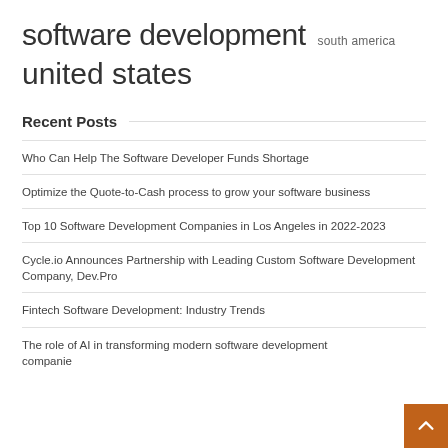software development  south america
united states
Recent Posts
Who Can Help The Software Developer Funds Shortage
Optimize the Quote-to-Cash process to grow your software business
Top 10 Software Development Companies in Los Angeles in 2022-2023
Cycle.io Announces Partnership with Leading Custom Software Development Company, Dev.Pro
Fintech Software Development: Industry Trends
The role of AI in transforming modern software development companie